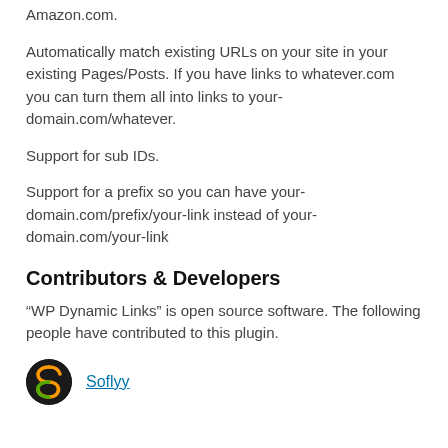Amazon.com.
Automatically match existing URLs on your site in your existing Pages/Posts. If you have links to whatever.com you can turn them all into links to your-domain.com/whatever.
Support for sub IDs.
Support for a prefix so you can have your-domain.com/prefix/your-link instead of your-domain.com/your-link
Contributors & Developers
“WP Dynamic Links” is open source software. The following people have contributed to this plugin.
Soflyy